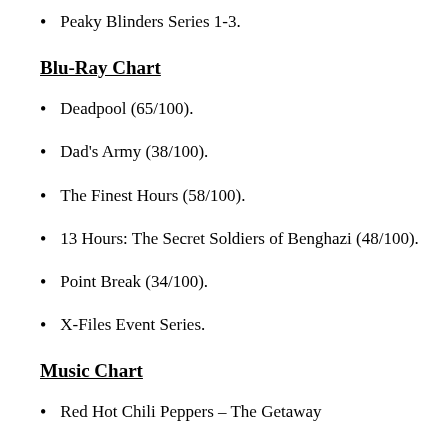Peaky Blinders Series 1-3.
Blu-Ray Chart
Deadpool (65/100).
Dad's Army (38/100).
The Finest Hours (58/100).
13 Hours: The Secret Soldiers of Benghazi (48/100).
Point Break (34/100).
X-Files Event Series.
Music Chart
Red Hot Chili Peppers – The Getaway